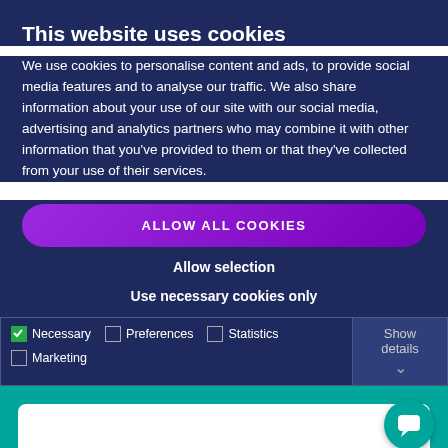This website uses cookies
We use cookies to personalise content and ads, to provide social media features and to analyse our traffic. We also share information about your use of our site with our social media, advertising and analytics partners who may combine it with other information that you've provided to them or that they've collected from your use of their services.
ALLOW ALL COOKIES
Allow selection
Use necessary cookies only
| ☑ Necessary | ☐ Preferences | ☐ Statistics | ☐ Marketing | Show details |
[Figure (screenshot): Teal/green background section with a white card beginning to appear and a teal circular chat bubble icon in the top-right, plus a partial green logo at the bottom center]